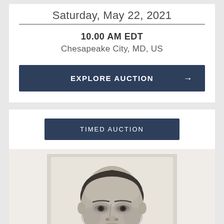Saturday, May 22, 2021
10.00 AM EDT
Chesapeake City, MD, US
EXPLORE AUCTION →
TIMED AUCTION
[Figure (photo): Black and white portrait photograph of a middle-aged man, close-up of face and shoulders, serious expression, short hair combed back]